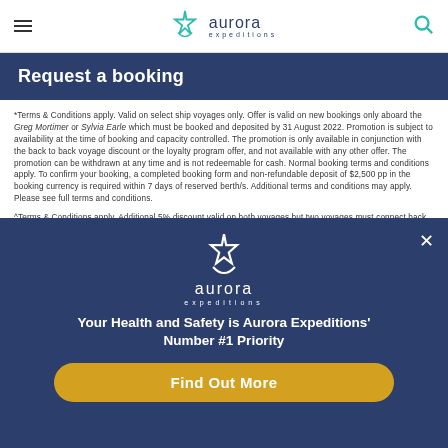Aurora Expeditions — navigation header with hamburger menu, logo, and search icon
Request a booking
*Terms & Conditions apply. Valid on select ship voyages only. Offer is valid on new bookings only aboard the Greg Mortimer or Sylvia Earle which must be booked and deposited by 31 August 2022. Promotion is subject to availability at the time of booking and capacity controlled. The promotion is only available in conjunction with the back to back voyage discount or the loyalty program offer, and not available with any other offer. The promotion can be withdrawn at any time and is not redeemable for cash. Normal booking terms and conditions apply. To confirm your booking, a completed booking form and non-refundable deposit of $2,500 pp in the booking currency is required within 7 days of reserved berth/s. Additional terms and conditions may apply. Please see full terms and conditions.
^Terms & Conditions apply. Additional 5% discount valid on both voyages but two voyages must connect back to back in terms of dates to be eligible. Offer is valid on new bookings only aboard the Greg Mortimer or Sylvia Earle. Promotions are subject to availability at the time of booking and capacity
[Figure (logo): Aurora Expeditions logo with white star and swoosh on dark blue background, text 'aurora expeditions' below]
Your Health and Safety is Aurora Expeditions' Number #1 Priority
Find Out More